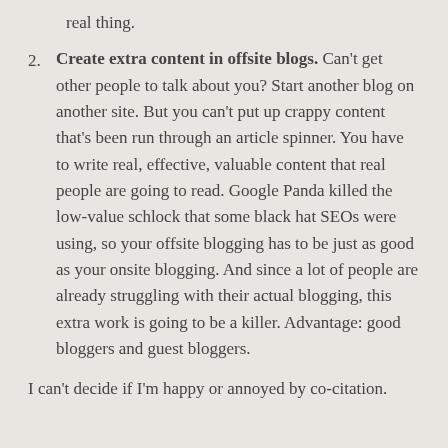real thing.
Create extra content in offsite blogs. Can't get other people to talk about you? Start another blog on another site. But you can't put up crappy content that's been run through an article spinner. You have to write real, effective, valuable content that real people are going to read. Google Panda killed the low-value schlock that some black hat SEOs were using, so your offsite blogging has to be just as good as your onsite blogging. And since a lot of people are already struggling with their actual blogging, this extra work is going to be a killer. Advantage: good bloggers and guest bloggers.
I can't decide if I'm happy or annoyed by co-citation.